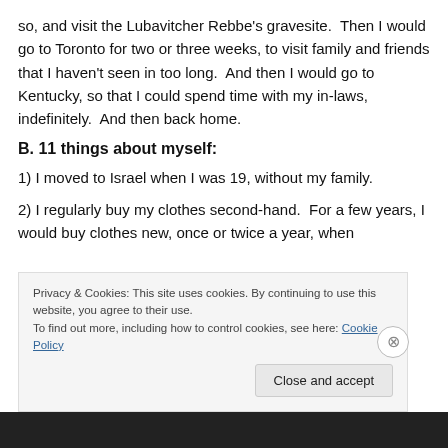so, and visit the Lubavitcher Rebbe's gravesite.  Then I would go to Toronto for two or three weeks, to visit family and friends that I haven't seen in too long.  And then I would go to Kentucky, so that I could spend time with my in-laws, indefinitely.  And then back home.
B. 11 things about myself:
1) I moved to Israel when I was 19, without my family.
2) I regularly buy my clothes second-hand.  For a few years, I would buy clothes new, once or twice a year, when
Privacy & Cookies: This site uses cookies. By continuing to use this website, you agree to their use.
To find out more, including how to control cookies, see here: Cookie Policy
Close and accept